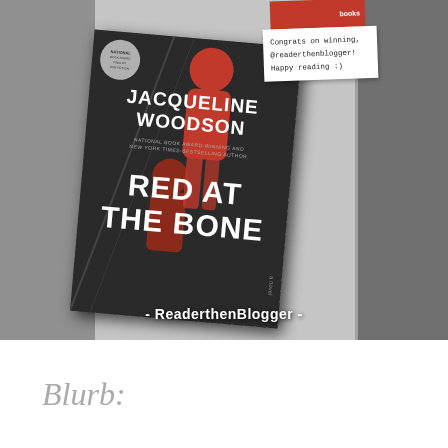[Figure (photo): Photo of a person holding the book 'Red at the Bone' by Jacqueline Woodson, with a bookmark/card visible that reads 'Congrats on winning, @readerthenblogger! Happy reading :)'. A watermark at the bottom reads '- ReaderthenBlogger -'. The book cover shows the title in large white text and the author's name.]
Blurb: